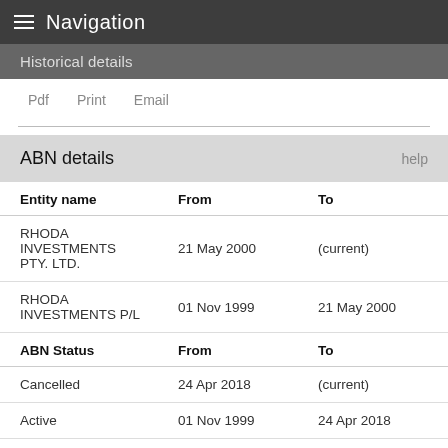Navigation
Historical details
Pdf   Print   Email
ABN details
| Entity name | From | To |
| --- | --- | --- |
| RHODA INVESTMENTS PTY. LTD. | 21 May 2000 | (current) |
| RHODA INVESTMENTS P/L | 01 Nov 1999 | 21 May 2000 |
| ABN Status | From | To |
| --- | --- | --- |
| Cancelled | 24 Apr 2018 | (current) |
| Active | 01 Nov 1999 | 24 Apr 2018 |